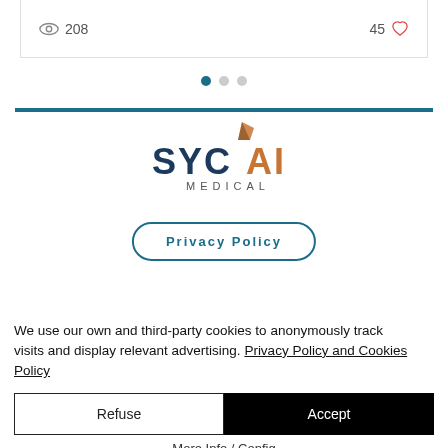[Figure (screenshot): Card UI element showing view count (208 with eye icon) and like count (45 with heart icon)]
[Figure (logo): SYCAI MEDICAL logo with orange diamond graphic above the text]
Privacy Policy
We use our own and third-party cookies to anonymously track visits and display relevant advertising. Privacy Policy and Cookies Policy
Refuse
Accept
More Info / Config